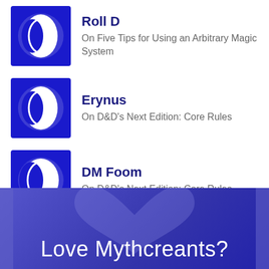Roll D — On Five Tips for Using an Arbitrary Magic System
Erynus — On D&D's Next Edition: Core Rules
DM Foom — On D&D's Next Edition: Core Rules
Ydithe — On Can Framing Devices Be Better Than Terrible?
[Figure (illustration): Purple banner with heart shape and text 'Love Mythcreants?']